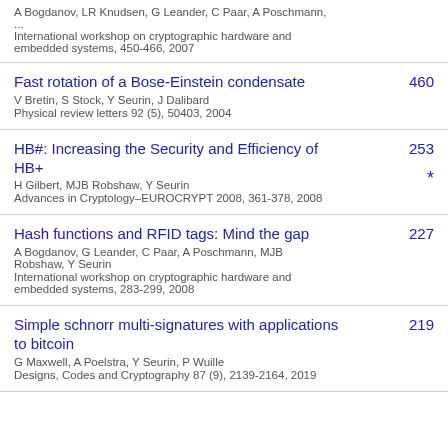A Bogdanov, LR Knudsen, G Leander, C Paar, A Poschmann, ...
International workshop on cryptographic hardware and embedded systems, 450-466, 2007
Fast rotation of a Bose-Einstein condensate
460
V Bretin, S Stock, Y Seurin, J Dalibard
Physical review letters 92 (5), 50403, 2004
HB#: Increasing the Security and Efficiency of HB+
253
*
H Gilbert, MJB Robshaw, Y Seurin
Advances in Cryptology–EUROCRYPT 2008, 361-378, 2008
Hash functions and RFID tags: Mind the gap
227
A Bogdanov, G Leander, C Paar, A Poschmann, MJB Robshaw, Y Seurin
International workshop on cryptographic hardware and embedded systems, 283-299, 2008
Simple schnorr multi-signatures with applications to bitcoin
219
G Maxwell, A Poelstra, Y Seurin, P Wuille
Designs, Codes and Cryptography 87 (9), 2139-2164, 2019